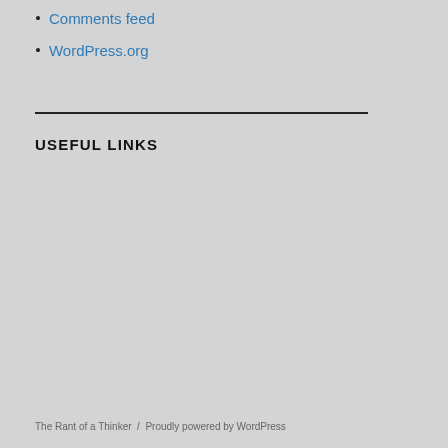Comments feed
WordPress.org
USEFUL LINKS
The Rant of a Thinker / Proudly powered by WordPress